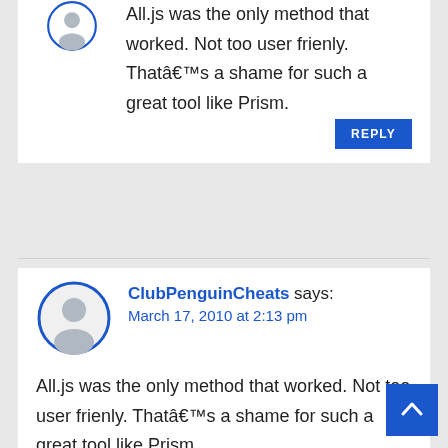[Figure (illustration): Partial avatar circle at the top of the page, blue outlined circle with grey person silhouette]
All.js was the only method that worked. Not too user frienly. Thatâ€™s a shame for such a great tool like Prism.
REPLY
[Figure (illustration): Avatar circle with blue outline and grey person silhouette for ClubPenguinCheats]
ClubPenguinCheats says:
March 17, 2010 at 2:13 pm
All.js was the only method that worked. Not too user frienly. Thatâ€™s a shame for such a great tool like Prism.